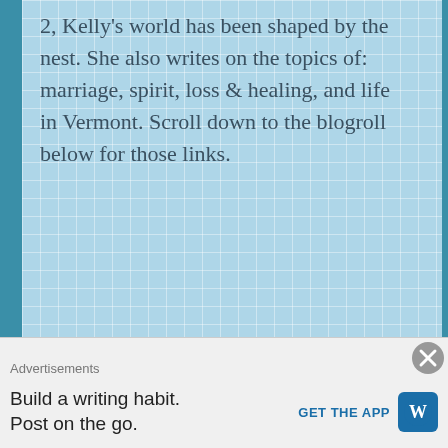2, Kelly's world has been shaped by the nest. She also writes on the topics of: marriage, spirit, loss & healing, and life in Vermont. Scroll down to the blogroll below for those links.
Recently Read
Advertisements
Build a writing habit.
Post on the go.
GET THE APP